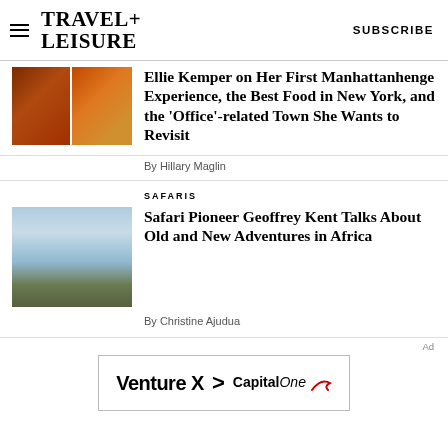TRAVEL+ LEISURE   SUBSCRIBE
Ellie Kemper on Her First Manhattanhenge Experience, the Best Food in New York, and the 'Office'-related Town She Wants to Revisit
By Hillary Maglin
SAFARIS
Safari Pioneer Geoffrey Kent Talks About Old and New Adventures in Africa
By Christine Ajudua
[Figure (other): Advertisement banner: Venture X > Capital One]